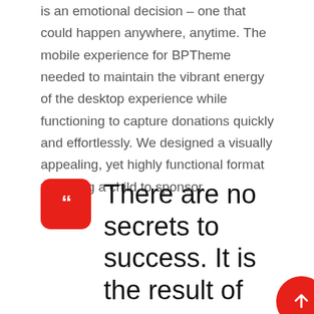is an emotional decision – one that could happen anywhere, anytime. The mobile experience for BPTheme needed to maintain the vibrant energy of the desktop experience while functioning to capture donations quickly and effortlessly. We designed a visually appealing, yet highly functional format to finding a child to sponsor.
There are no secrets to success. It is the result of